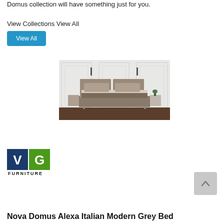Domus collection will have something just for you.
View Collections View All
View All
[Figure (photo): A modern grey bed with upholstered headboard, dark brown bedding, two nightstands, and decorative wall sconces against a white paneled wall background.]
[Figure (logo): VG Furniture logo with white V and G letters on a dark navy/green background with FURNITURE text below.]
Nova Domus Alexa Italian Modern Grey Bed